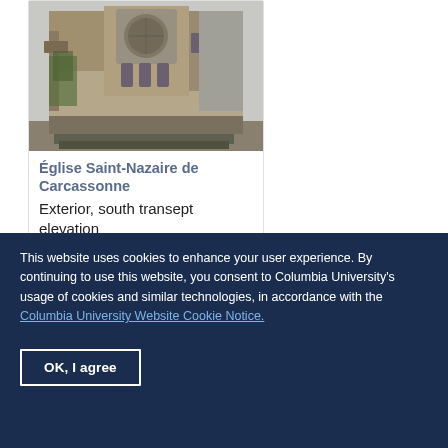[Figure (photo): Photograph of Église Saint-Nazaire de Carcassonne exterior showing the south transept elevation, a Gothic cathedral with stone facade, flying buttresses, and large rose window]
Église Saint-Nazaire de Carcassonne
Exterior, south transept elevation
[Figure (photo): Partial photograph of another exterior architectural view, cropped at bottom of page]
This website uses cookies to enhance your user experience. By continuing to use this website, you consent to Columbia University's usage of cookies and similar technologies, in accordance with the Columbia University Website Cookie Notice.
OK, I agree